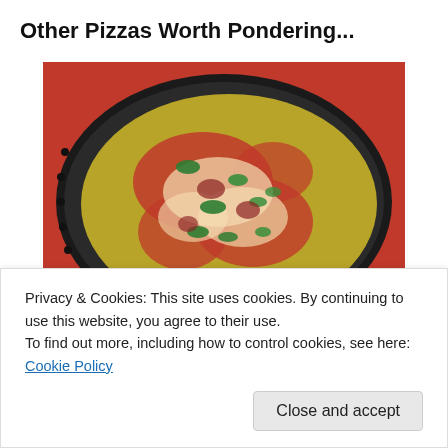Other Pizzas Worth Pondering...
[Figure (photo): A chickpea pizza in a dark round baking pan, topped with tomato sauce, cheese, and fresh green herbs, viewed from above. The pan is on a red surface.]
Chickpea Pizza
[Figure (photo): Partial view of a pizza with yellow/orange toppings and green herbs, cropped at bottom of visible area. Label 'Butternut' visible below.]
Privacy & Cookies: This site uses cookies. By continuing to use this website, you agree to their use.
To find out more, including how to control cookies, see here: Cookie Policy
Close and accept